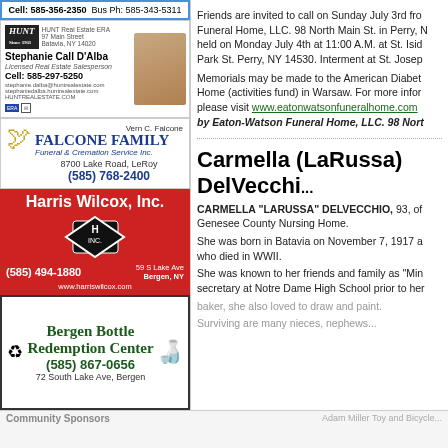[Figure (infographic): Advertisement: Cell 585-356-2350, Bus Ph: 585-343-5311]
[Figure (infographic): Hunt Real Estate ERA ad featuring Stephanie Call D'Alba, Licensed Real Estate Salesperson, Cell: 585-297-5250]
[Figure (infographic): Falcone Family Funeral & Cremation Service Inc., 8700 Lake Road LeRoy, (585) 768-2400, Vern C. Falcone]
[Figure (infographic): Harris Wilcox, Inc. ad, 59 S Lake Ave Bergen NY, (585) 494-1880, www.harriswilcox.com]
[Figure (infographic): Bergen Bottle Redemption Center, (585) 867-0656, 72 South Lake Ave, Bergen]
Friends are invited to call on Sunday July 3rd from... Funeral Home, LLC. 98 North Main St. in Perry, N... held on Monday July 4th at 11:00 A.M. at St. Isid... Park St. Perry, NY 14530. Interment at St. Josep...
Memorials may be made to the American Diabet... Home (activities fund) in Warsaw. For more infor... please visit www.eatonwatsonfuneralhome.com ...by Eaton-Watson Funeral Home, LLC. 98 Nort...
Carmella (LaRussa) DelVecchi...
CARMELLA "LARUSSA" DELVECCHIO, 93, of... Genesee County Nursing Home.
She was born in Batavia on November 7, 1917 a... who died in WWII.
She was known to her friends and family as "Min... secretary at Notre Dame High School prior to her...
baker, she also loved to draw and paint.
Surviving are many nieces, nephews...
Community Sponsors
Adam Miller Toy and Bicycle...